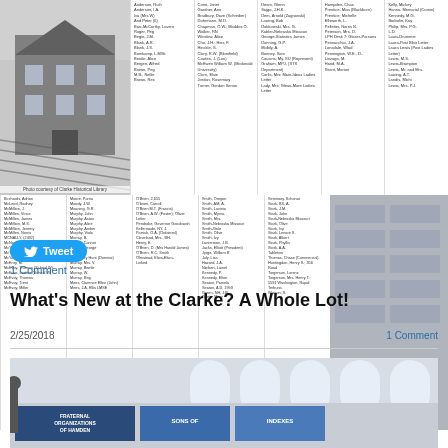[Figure (photo): Black and white photo of a historical building (top left), alongside multiple columnar lists of names]
[Figure (photo): Interior photo of what appears to be an exhibition or archive room with signs reading FRATERNAL ORGANIZATIONS OF HAMDEN, SONS OF, INDEXES]
Tweet
1 Comment
What's New at the Clarke? A Whole Lot!
2/25/2018
1 Comment